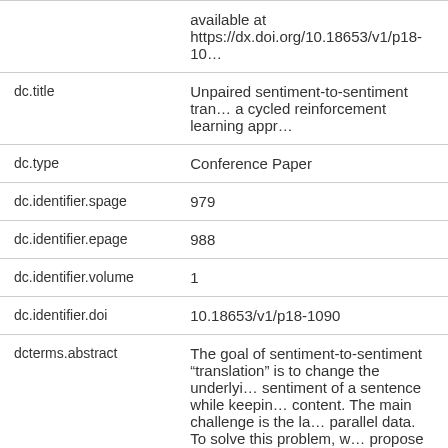| Field | Value |
| --- | --- |
|  | available at https://dx.doi.org/10.18653/v1/p18-10… |
| dc.title | Unpaired sentiment-to-sentiment tra… a cycled reinforcement learning appr… |
| dc.type | Conference Paper |
| dc.identifier.spage | 979 |
| dc.identifier.epage | 988 |
| dc.identifier.volume | 1 |
| dc.identifier.doi | 10.18653/v1/p18-1090 |
| dcterms.abstract | The goal of sentiment-to-sentiment “translation” is to change the underlyi… sentiment of a sentence while keepin… content. The main challenge is the la… parallel data. To solve this problem, w… propose a cycled reinforcement learn… method that enables training on unpa… by collaboration between a neutraliza… |